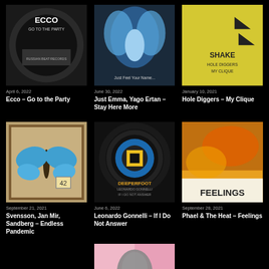[Figure (photo): Album art for Ecco – Go to the Party, dark circular image with text on white/grey background]
April 6, 2022
Ecco – Go to the Party
[Figure (photo): Album art for Just Emma, Yago Ertan – Stay Here More, blue feathered figure]
June 30, 2022
Just Emma, Yago Ertan – Stay Here More
[Figure (photo): Album art for Hole Diggers – My Clique, yellow background with black triangles]
January 10, 2021
Hole Diggers – My Clique
[Figure (photo): Album art for Svensson, Jan Mir, Sandberg – Endless Pandemic, butterfly on wood panel]
September 21, 2021
Svensson, Jan Mir, Sandberg – Endless Pandemic
[Figure (photo): Album art for Leonardo Gonnelli – If I Do Not Answer, black circular design on dark background with yellow square]
June 6, 2022
Leonardo Gonnelli – If I Do Not Answer
[Figure (photo): Album art for Phael & The Heat – Feelings, orange and yellow abstract image with FEELINGS text]
September 28, 2021
Phael & The Heat – Feelings
[Figure (photo): Album art partially visible at bottom center, pink and grey abstract figure]